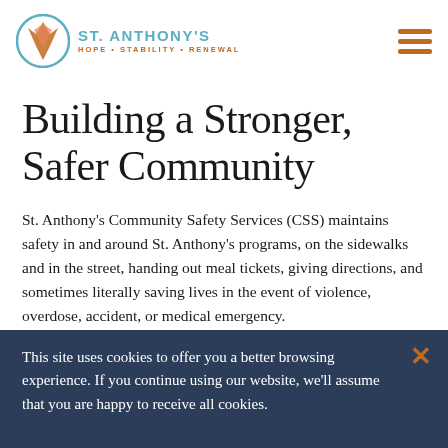ST. ANTHONY'S HOPE · STABILITY · RENEWAL
Building a Stronger, Safer Community
St. Anthony's Community Safety Services (CSS) maintains safety in and around St. Anthony's programs, on the sidewalks and in the street, handing out meal tickets, giving directions, and sometimes literally saving lives in the event of violence, overdose, accident, or medical emergency.
This site uses cookies to offer you a better browsing experience. If you continue using our website, we'll assume that you are happy to receive all cookies.